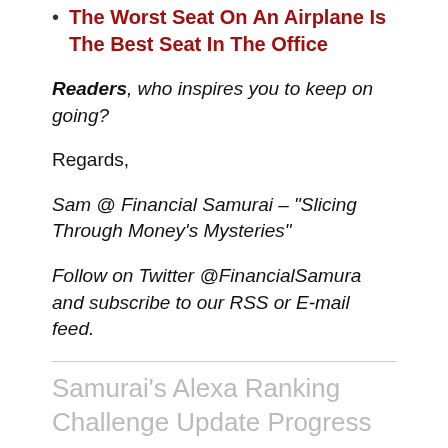The Worst Seat On An Airplane Is The Best Seat In The Office
Readers, who inspires you to keep on going?
Regards,
Sam @ Financial Samurai – "Slicing Through Money's Mysteries"
Follow on Twitter @FinancialSamura and subscribe to our RSS or E-mail feed.
Samurai's Alexa Ranking Challenge Update Progress